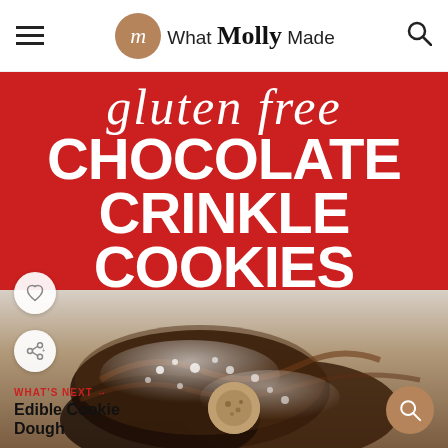What Molly Made
[Figure (photo): Red banner with text 'gluten free CHOCOLATE CRINKLE COOKIES' over a photo of chocolate crinkle cookies dusted with powdered sugar]
gluten free CHOCOLATE CRINKLE COOKIES
WHAT'S NEXT → Edible Cookie Dough